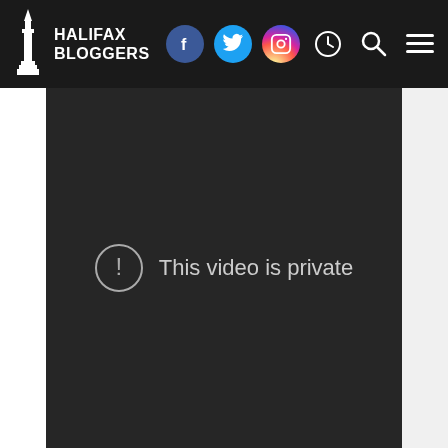HALIFAX BLOGGERS
[Figure (screenshot): Dark video player area showing 'This video is private' message with an exclamation circle icon]